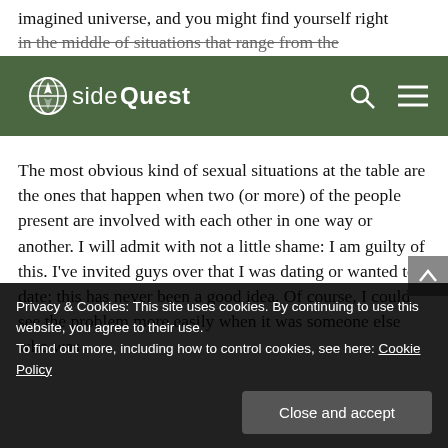imagined universe, and you might find yourself right in the middle of situations that range from the
[Figure (logo): SideQuest website navigation bar with green background, SideQuest logo on left, search icon and hamburger menu icon on right]
The most obvious kind of sexual situations at the table are the ones that happen when two (or more) of the people present are involved with each other in one way or another. I will admit with not a little shame: I am guilty of this. I've invited guys over that I was dating or wanted to date; this has never been a good idea. Of course, I could see the problem more easily when it was someone else who was
Privacy & Cookies: This site uses cookies. By continuing to use this website, you agree to their use.
To find out more, including how to control cookies, see here: Cookie Policy

Close and accept